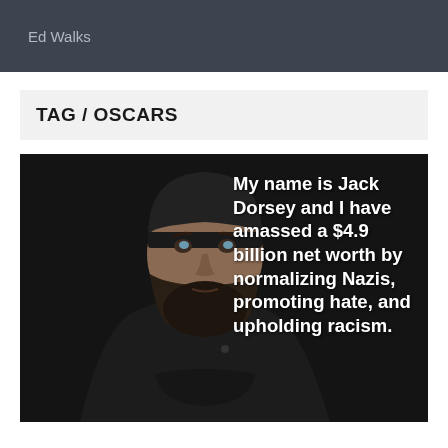Ed Walks
TAG / OSCARS
[Figure (photo): Dark background photo of a bearded man wearing a black beanie and black hoodie, with overlaid white text reading: 'My name is Jack Dorsey and I have amassed a $4.9 billion net worth by normalizing Nazis, promoting hate, and upholding racism.']